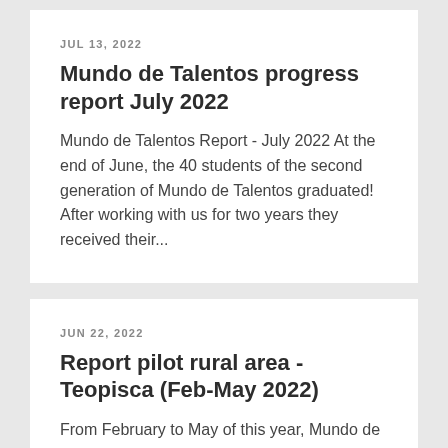JUL 13, 2022
Mundo de Talentos progress report July 2022
Mundo de Talentos Report - July 2022 At the end of June, the 40 students of the second generation of Mundo de Talentos graduated! After working with us for two years they received their...
JUN 22, 2022
Report pilot rural area - Teopisca (Feb-May 2022)
From February to May of this year, Mundo de Talentos implemented a pilot in the rural